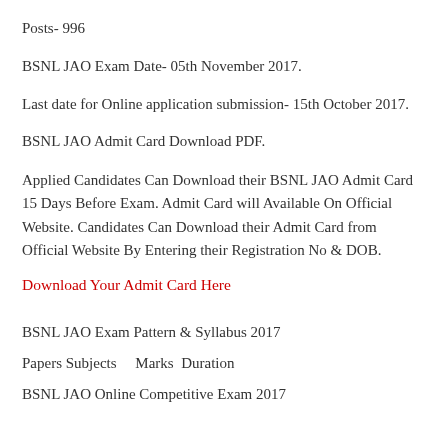Posts- 996
BSNL JAO Exam Date- 05th November 2017.
Last date for Online application submission- 15th October 2017.
BSNL JAO Admit Card Download PDF.
Applied Candidates Can Download their BSNL JAO Admit Card 15 Days Before Exam. Admit Card will Available On Official Website. Candidates Can Download their Admit Card from Official Website By Entering their Registration No & DOB.
Download Your Admit Card Here
BSNL JAO Exam Pattern & Syllabus 2017
Papers Subjects    Marks  Duration
BSNL JAO Online Competitive Exam 2017